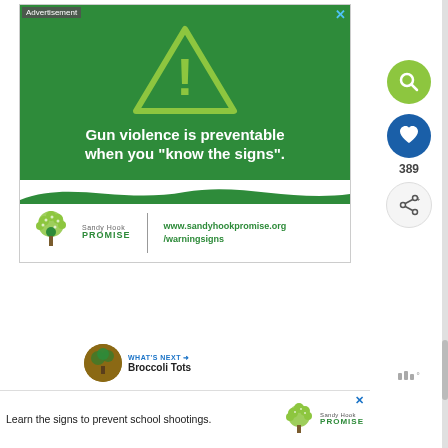[Figure (other): Sandy Hook Promise advertisement with green background, warning triangle with exclamation mark, text 'Gun violence is preventable when you know the signs.' and Sandy Hook Promise logo with URL www.sandyhookpromise.org/warningsigns]
Advertisement
Gun violence is preventable when you "know the signs".
www.sandyhookpromise.org /warningsigns
389
WHAT'S NEXT → Broccoli Tots
[Figure (other): Bottom banner ad: 'Learn the signs to prevent school shootings.' with Sandy Hook Promise logo and tree icon]
Learn the signs to prevent school shootings.